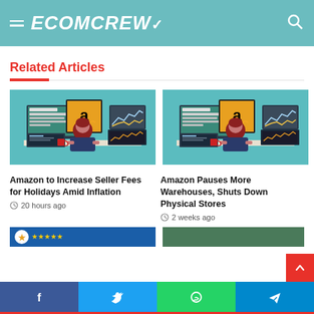ECOMCREW
Related Articles
[Figure (illustration): Person sitting at a desk with multiple monitors showing Amazon and stock charts]
Amazon to Increase Seller Fees for Holidays Amid Inflation
20 hours ago
[Figure (illustration): Person sitting at a desk with multiple monitors showing Amazon and stock charts]
Amazon Pauses More Warehouses, Shuts Down Physical Stores
2 weeks ago
[Figure (illustration): Partially visible article thumbnail with blue background]
[Figure (illustration): Partially visible article thumbnail with green/dark background]